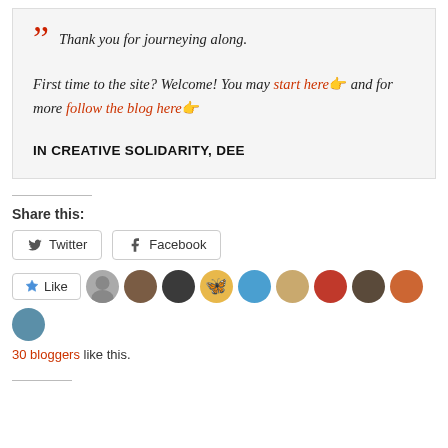Thank you for journeying along.

First time to the site? Welcome! You may start here 👉 and for more follow the blog here 👉

IN CREATIVE SOLIDARITY, DEE
Share this:
Twitter  Facebook
30 bloggers like this.